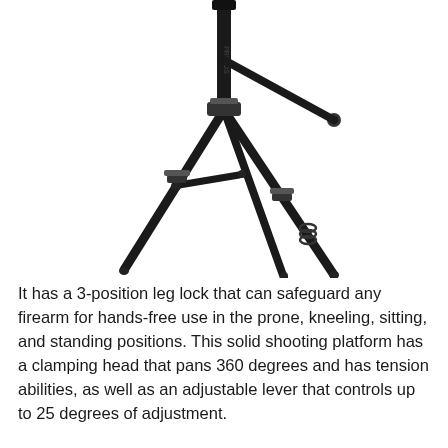[Figure (photo): A black tripod shooting rest/stand with three legs, leg lock mechanisms, and adjustable sections, photographed on a white background.]
It has a 3-position leg lock that can safeguard any firearm for hands-free use in the prone, kneeling, sitting, and standing positions. This solid shooting platform has a clamping head that pans 360 degrees and has tension abilities, as well as an adjustable lever that controls up to 25 degrees of adjustment.